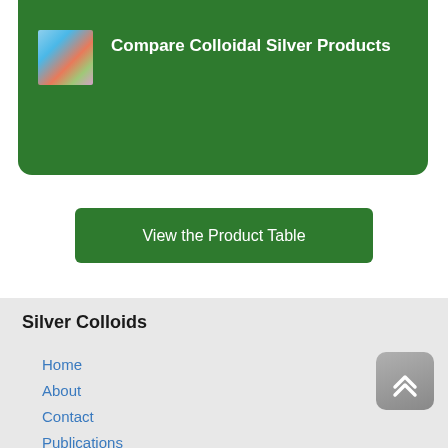[Figure (other): Green card with thumbnail image and title 'Compare Colloidal Silver Products']
View the Product Table
Silver Colloids
Home
About
Contact
Publications